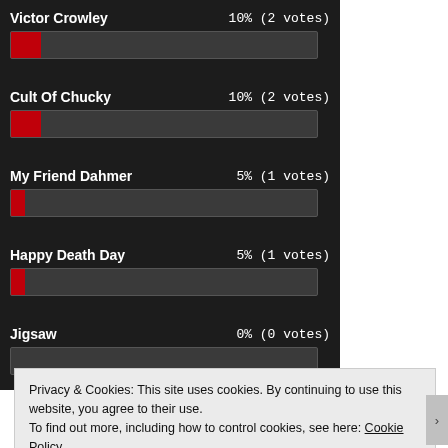[Figure (bar-chart): Horror Movie Poll]
Privacy & Cookies: This site uses cookies. By continuing to use this website, you agree to their use. To find out more, including how to control cookies, see here: Cookie Policy
Close and accept